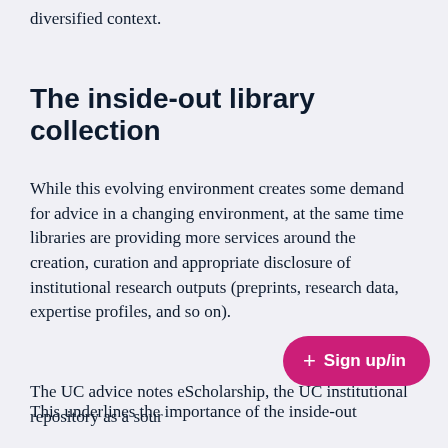diversified context.
The inside-out library collection
While this evolving environment creates some demand for advice in a changing environment, at the same time libraries are providing more services around the creation, curation and appropriate disclosure of institutional research outputs (preprints, research data, expertise profiles, and so on).
The UC advice notes eScholarship, the UC institutional repository as a sour
This underlines the importance of the inside-out